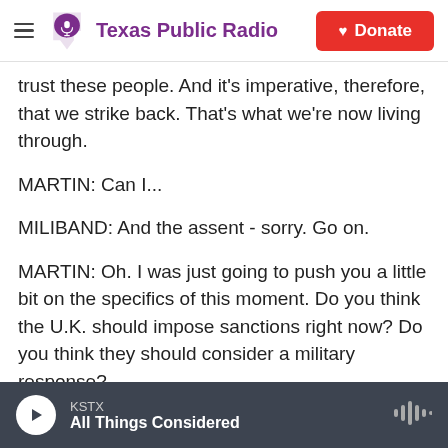Texas Public Radio
trust these people. And it's imperative, therefore, that we strike back. That's what we're now living through.
MARTIN: Can I...
MILIBAND: And the assent - sorry. Go on.
MARTIN: Oh. I was just going to push you a little bit on the specifics of this moment. Do you think the U.K. should impose sanctions right now? Do you think they should consider a military response?
MILIBAND: No. I think there - first of all, there is no
KSTX
All Things Considered